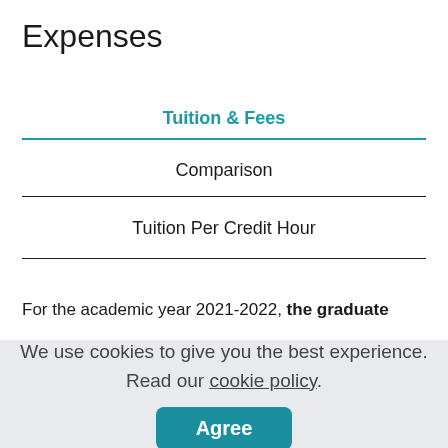Expenses
Tuition & Fees
Comparison
Tuition Per Credit Hour
For the academic year 2021-2022, the graduate
We use cookies to give you the best experience. Read our cookie policy.